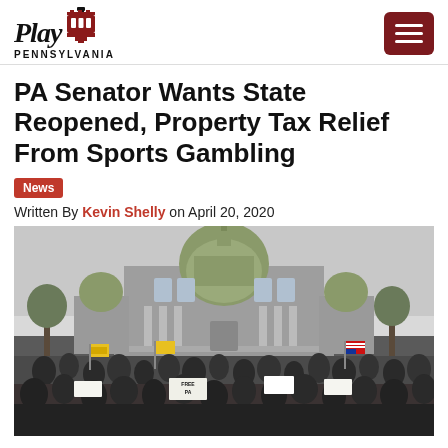Play Pennsylvania
PA Senator Wants State Reopened, Property Tax Relief From Sports Gambling
News
Written By Kevin Shelly on April 20, 2020
[Figure (photo): A large crowd protests in front of the Pennsylvania State Capitol building, holding signs including 'FREE PA' and American flags, demanding the state be reopened.]